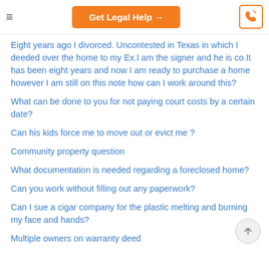Get Legal Help →
Eight years ago I divorced. Uncontested in Texas in which I deeded over the home to my Ex.I am the signer and he is co.It has been eight years and now I am ready to purchase a home however I am still on this note how can I work around this?
What can be done to you for not paying court costs by a certain date?
Can his kids force me to move out or evict me ?
Community property question
What documentation is needed regarding a foreclosed home?
Can you work without filling out any paperwork?
Can I sue a cigar company for the plastic melting and burning my face and hands?
Multiple owners on warranty deed